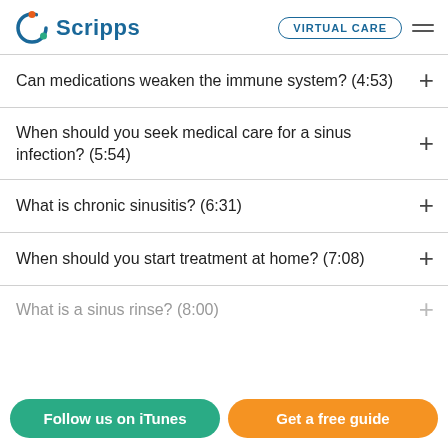[Figure (logo): Scripps Health logo with circular orange/blue icon and blue 'Scripps' text]
Can medications weaken the immune system? (4:53)
When should you seek medical care for a sinus infection? (5:54)
What is chronic sinusitis? (6:31)
When should you start treatment at home? (7:08)
What is a sinus rinse? (8:00)